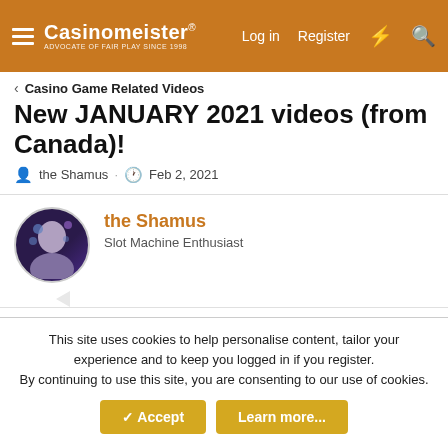Casinomeister® — ADVOCATE OF FAIR PLAY SINCE 1998 | Log in | Register
Casino Game Related Videos
New JANUARY 2021 videos (from Canada)!
the Shamus · Feb 2, 2021
the Shamus
Slot Machine Enthusiast
Feb 2, 2021  #1
[Figure (screenshot): Video thumbnail with dark gradient background]
This site uses cookies to help personalise content, tailor your experience and to keep you logged in if you register.
By continuing to use this site, you are consenting to our use of cookies.
✓ Accept   Learn more...